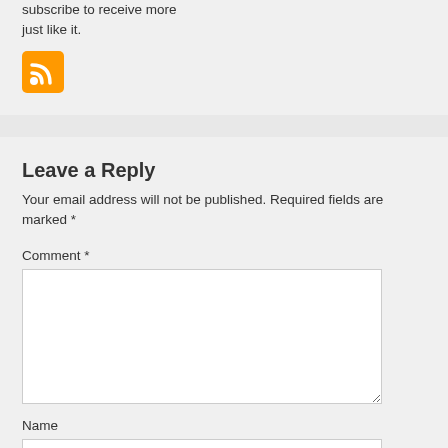subscribe to receive more just like it.
[Figure (logo): Orange RSS feed icon]
Leave a Reply
Your email address will not be published. Required fields are marked *
Comment *
Name